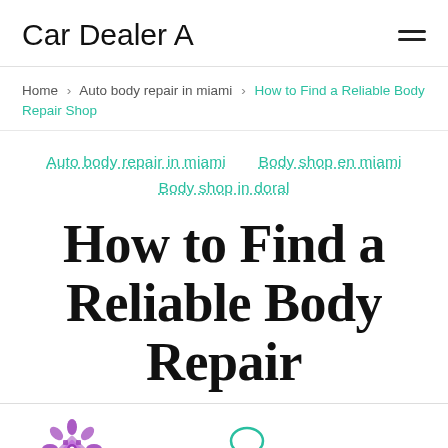Car Dealer A
Home > Auto body repair in miami > How to Find a Reliable Body Repair Shop
Auto body repair in miami
Body shop en miami
Body shop in doral
How to Find a Reliable Body Repair
Margaret
Leave a Comment